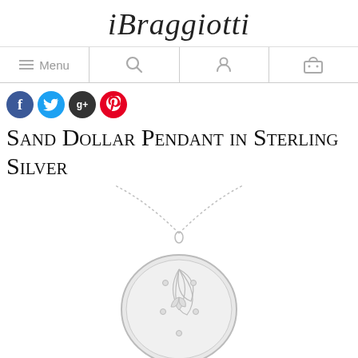iBraggiotti
[Figure (screenshot): Navigation bar with hamburger menu icon and 'Menu' label, search icon, user account icon, and shopping cart icon]
[Figure (infographic): Social media share icons: Facebook (blue circle with f), Twitter (light blue circle with bird), Google+ (dark circle with g+), Pinterest (red circle with P)]
Sand Dollar Pendant in Sterling Silver
[Figure (photo): Product photo of a sterling silver sand dollar pendant hanging on a delicate silver chain, shown on white background]